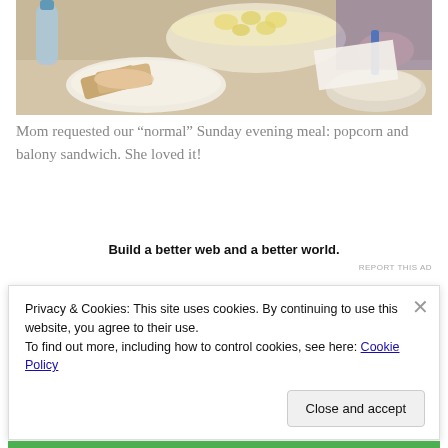[Figure (photo): Photo of a meal: a bowl of popcorn/grain, a plate with bread/balony sandwich slices, a water bottle, and hands visible, on a table.]
Mom requested our “normal” Sunday evening meal: popcorn and balony sandwich. She loved it!
Build a better web and a better world.
REPORT THIS AD
Privacy & Cookies: This site uses cookies. By continuing to use this website, you agree to their use.
To find out more, including how to control cookies, see here: Cookie Policy
Close and accept